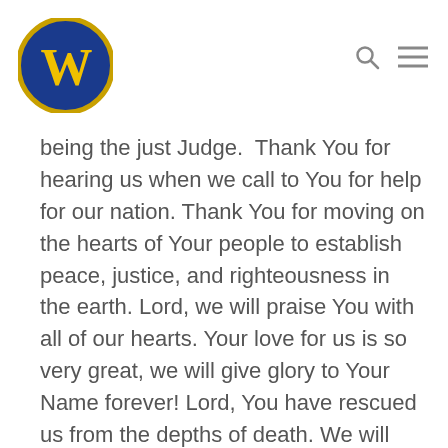W logo with navigation icons
being the just Judge.  Thank You for hearing us when we call to You for help for our nation. Thank You for moving on the hearts of Your people to establish peace, justice, and righteousness in the earth. Lord, we will praise You with all of our hearts. Your love for us is so very great, we will give glory to Your Name forever! Lord, You have rescued us from the depths of death. We will sing of Your unfailing love forever. Young and old will hear of Your faithfulness. Your unfailing love will last forever. Your faithfulness is as enduring as the heavens.